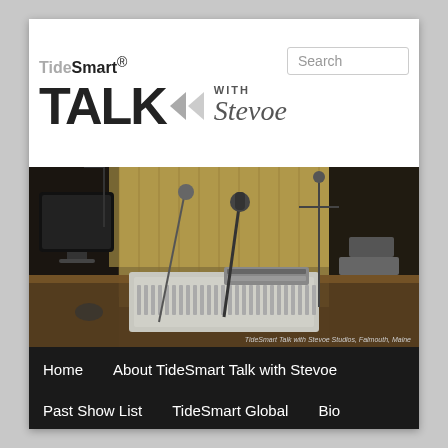[Figure (logo): TideSmart Talk with Stevoe logo — 'Tide' in grey, 'Smart' in black bold, TALK in large bold black with left-pointing arrows graphic, 'with Stevoe' in italic serif]
[Figure (photo): Interior photo of a radio broadcast studio showing mixing console, microphones, monitor, acoustic panels, and studio equipment. Caption reads: TideSmart Talk with Stevoe Studios, Falmouth, Maine]
Home
About TideSmart Talk with Stevoe
Past Show List
TideSmart Global
Bio
Contact